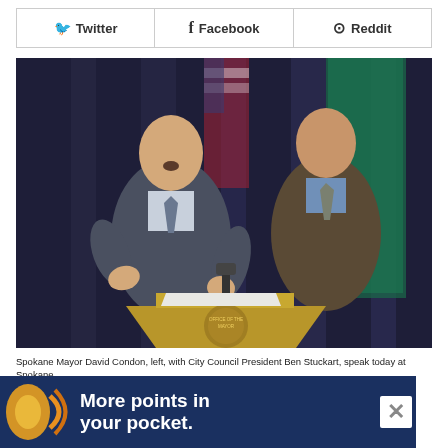Twitter
Facebook
Reddit
[Figure (photo): Spokane Mayor David Condon, left, speaking at a podium with the Office of the Mayor seal, alongside City Council President Ben Stuckart, at a press conference at Spokane City Hall. American flag and green flag visible in background.]
Spokane Mayor David Condon, left, with City Council President Ben Stuckart, speak today at Spokane...
[Figure (infographic): Advertisement banner reading 'More points in your pocket.' with orange and gold decorative icon on dark navy background, with a close (×) button.]